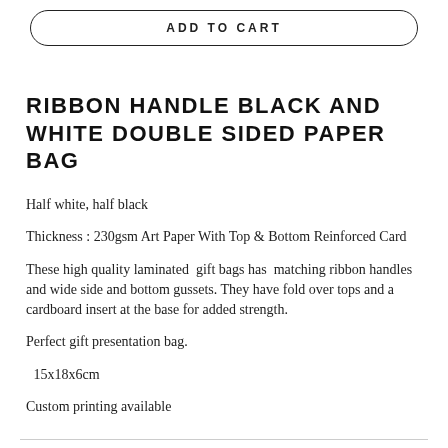ADD TO CART
RIBBON HANDLE BLACK AND WHITE DOUBLE SIDED PAPER BAG
Half white, half black
Thickness : 230gsm Art Paper With Top & Bottom Reinforced Card
These high quality laminated gift bags has matching ribbon handles and wide side and bottom gussets. They have fold over tops and a cardboard insert at the base for added strength.
Perfect gift presentation bag.
15x18x6cm
Custom printing available